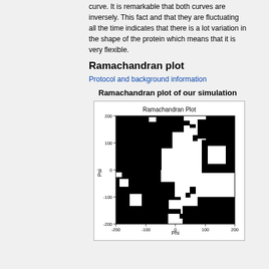curve. It is remarkable that both curves are inversely. This fact and that they are fluctuating all the time indicates that there is a lot variation in the shape of the protein which means that it is very flexible.
Ramachandran plot
Protocol and background information
Ramachandran plot of our simulation
[Figure (scatter-plot): Ramachandran plot showing Phi vs Psi dihedral angles for a protein simulation. Dense scatter of black dots forming characteristic allowed regions for alpha-helices and beta-sheets.]